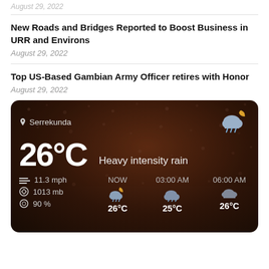August 29, 2022
New Roads and Bridges Reported to Boost Business in URR and Environs
August 29, 2022
Top US-Based Gambian Army Officer retires with Honor
August 29, 2022
[Figure (screenshot): Weather widget showing Serrekunda weather: 26°C, Heavy intensity rain, wind 11.3 mph, pressure 1013 mb, humidity 90%. Forecast: NOW 26°C, 03:00 AM 25°C, 06:00 AM 26°C. Dark rainy background.]